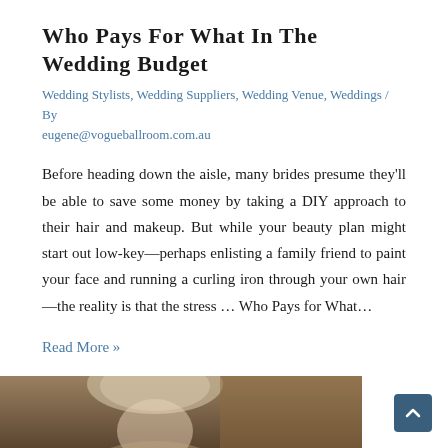Who Pays for What in the Wedding Budget
Wedding Stylists, Wedding Suppliers, Wedding Venue, Weddings / By eugene@vogueballroom.com.au
Before heading down the aisle, many brides presume they'll be able to save some money by taking a DIY approach to their hair and makeup. But while your beauty plan might start out low-key—perhaps enlisting a family friend to paint your face and running a curling iron through your own hair—the reality is that the stress … Who Pays for What…
Read More »
[Figure (photo): Partial photo of a person at the bottom of the page, showing a blonde woman against a warm brown background]